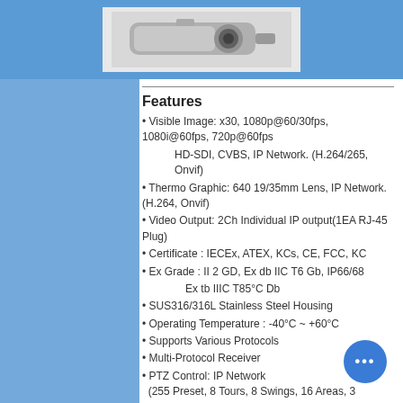[Figure (photo): Security camera photo shown at the top of the page inside a light grey box, flanked by blue strips on each side.]
Features
Visible Image: x30, 1080p@60/30fps, 1080i@60fps, 720p@60fps
HD-SDI, CVBS, IP Network. (H.264/265, Onvif)
Thermo Graphic: 640 19/35mm Lens, IP Network. (H.264, Onvif)
Video Output: 2Ch Individual IP output(1EA RJ-45 Plug)
Certificate : IECEx, ATEX, KCs, CE, FCC, KC
Ex Grade : II 2 GD, Ex db IIC T6 Gb, IP66/68
Ex tb IIIC T85°C Db
SUS316/316L Stainless Steel Housing
Operating Temperature : -40°C ~ +60°C
Supports Various Protocols
Multi-Protocol Receiver
PTZ Control: IP Network (255 Preset, 8 Tours, 8 Swings, 16 Areas, 3 Alarms, 8 Groups)
Cable Entry: NPT 3/4"-14
Built-in Fan/Heater & Temp Sensor